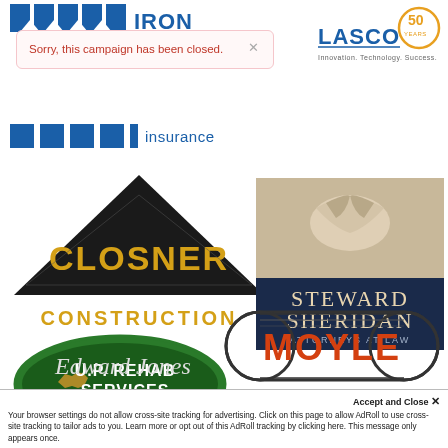[Figure (logo): Iron company logo with blue block letters at top]
[Figure (logo): Lasco 50 Years logo - Innovation. Technology. Success.]
Sorry, this campaign has been closed.
[Figure (logo): Blue block squares Insurance logo]
[Figure (logo): Closner Construction logo with black triangle and gold text]
[Figure (logo): Steward Sheridan Attorneys at Law logo]
[Figure (logo): U.P. Rehab Services oval green logo with Michigan UP map]
[Figure (logo): Moyle Trucking Excavating Ishpeming Michigan logo]
Accept and Close ×
Your browser settings do not allow cross-site tracking for advertising. Click on this page to allow AdRoll to use cross-site tracking to tailor ads to you. Learn more or opt out of this AdRoll tracking by clicking here. This message only appears once.
[Figure (logo): Edward Jones watermark text in background]